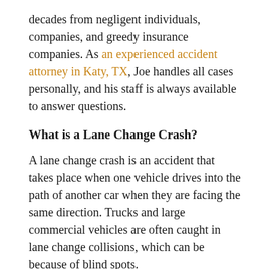decades from negligent individuals, companies, and greedy insurance companies. As an experienced accident attorney in Katy, TX, Joe handles all cases personally, and his staff is always available to answer questions.
What is a Lane Change Crash?
A lane change crash is an accident that takes place when one vehicle drives into the path of another car when they are facing the same direction. Trucks and large commercial vehicles are often caught in lane change collisions, which can be because of blind spots.
The percentage of lane change crashes is exceptionally high whenever roads are difficult (rural roads, during bad weather, and at non-junctions). Many situations would be counted as lane change crashes. These might be turning at a junction, merging between two roads, and